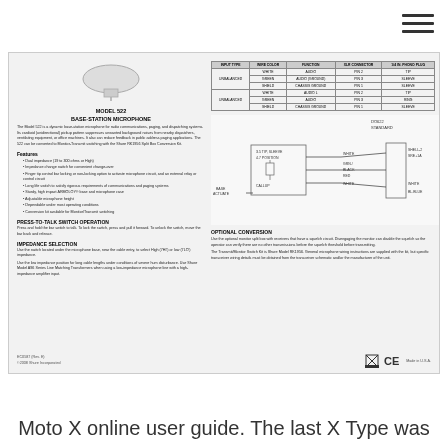[Figure (screenshot): Product specification sheet for Shure Model 522 Base-Station Microphone showing text, wiring table, and circuit diagram]
Moto X online user guide. The last X Type was